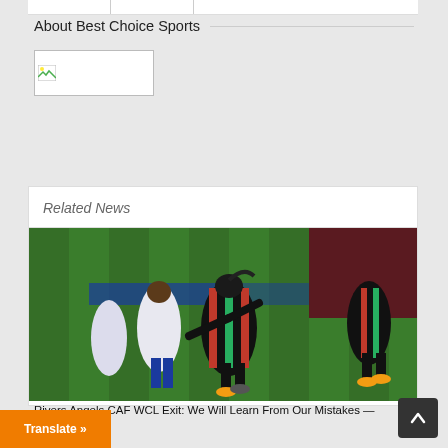About Best Choice Sports
[Figure (photo): Broken image placeholder for Best Choice Sports logo]
Related News
[Figure (photo): Soccer match photo showing women players in a CAF Women's Champions League match. Players in black/red/green striped kit and players in white kit competing on grass field.]
Rivers Angels CAF WCL Exit: We Will Learn From Our Mistakes — Edwin Okon
Translate »